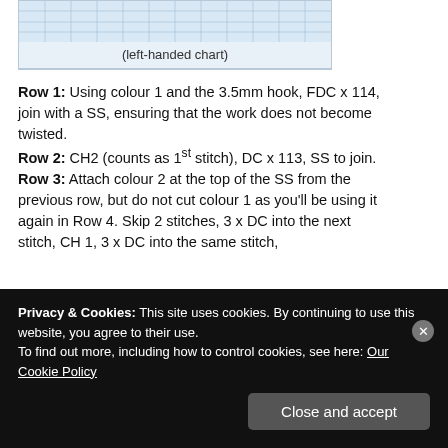[Figure (other): A grid-based crochet pattern chart (left-handed chart) with blue grid cells on light blue background]
(left-handed chart)
Row 1:  Using colour 1 and the 3.5mm hook, FDC x 114, join with a SS, ensuring that the work does not become twisted.
Row 2:  CH2 (counts as 1st stitch), DC x 113, SS to join.
Row 3:  Attach colour 2 at the top of the SS from the previous row, but do not cut colour 1 as you'll be using it again in Row 4. Skip 2 stitches, 3 x DC into the next stitch, CH 1, 3 x DC into the same stitch,
Privacy & Cookies: This site uses cookies. By continuing to use this website, you agree to their use.
To find out more, including how to control cookies, see here: Our Cookie Policy
Close and accept